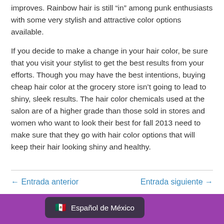improves. Rainbow hair is still “in” among punk enthusiasts with some very stylish and attractive color options available.
If you decide to make a change in your hair color, be sure that you visit your stylist to get the best results from your efforts. Though you may have the best intentions, buying cheap hair color at the grocery store isn’t going to lead to shiny, sleek results. The hair color chemicals used at the salon are of a higher grade than those sold in stores and women who want to look their best for fall 2013 need to make sure that they go with hair color options that will keep their hair looking shiny and healthy.
← Entrada anterior
Entrada siguiente →
Español de México